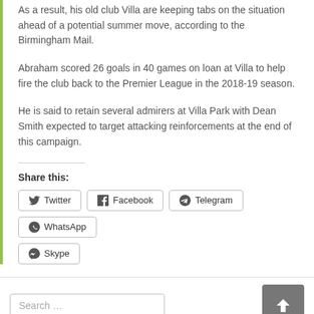As a result, his old club Villa are keeping tabs on the situation ahead of a potential summer move, according to the Birmingham Mail.
Abraham scored 26 goals in 40 games on loan at Villa to help fire the club back to the Premier League in the 2018-19 season.
He is said to retain several admirers at Villa Park with Dean Smith expected to target attacking reinforcements at the end of this campaign.
Share this:
Twitter
Facebook
Telegram
WhatsApp
Skype
Search …
ARCHIVES